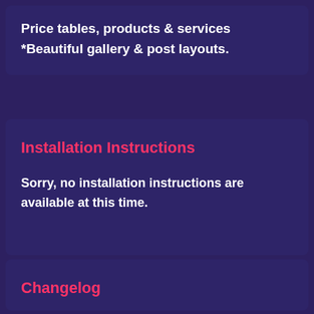Price tables, products & services *Beautiful gallery & post layouts.
Installation Instructions
Sorry, no installation instructions are available at this time.
Changelog